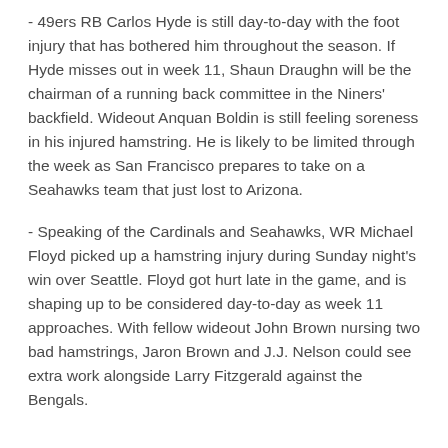- 49ers RB Carlos Hyde is still day-to-day with the foot injury that has bothered him throughout the season. If Hyde misses out in week 11, Shaun Draughn will be the chairman of a running back committee in the Niners' backfield. Wideout Anquan Boldin is still feeling soreness in his injured hamstring. He is likely to be limited through the week as San Francisco prepares to take on a Seahawks team that just lost to Arizona.
- Speaking of the Cardinals and Seahawks, WR Michael Floyd picked up a hamstring injury during Sunday night's win over Seattle. Floyd got hurt late in the game, and is shaping up to be considered day-to-day as week 11 approaches. With fellow wideout John Brown nursing two bad hamstrings, Jaron Brown and J.J. Nelson could see extra work alongside Larry Fitzgerald against the Bengals.